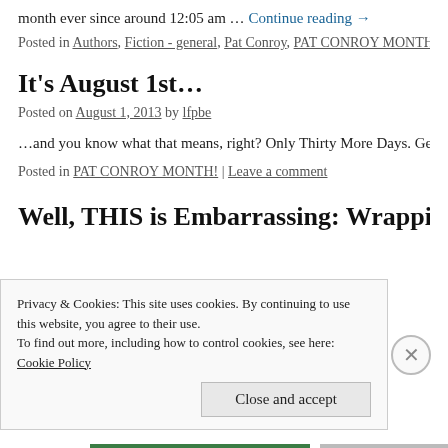month ever since around 12:05 am … Continue reading →
Posted in Authors, Fiction - general, Pat Conroy, PAT CONROY MONTH!, Re…
It's August 1st…
Posted on August 1, 2013 by lfpbe
…and you know what that means, right? Only Thirty More Days. Get Excited!!
Posted in PAT CONROY MONTH! | Leave a comment
Well, THIS is Embarrassing: Wrapping up (b…
Privacy & Cookies: This site uses cookies. By continuing to use this website, you agree to their use.
To find out more, including how to control cookies, see here: Cookie Policy
Close and accept